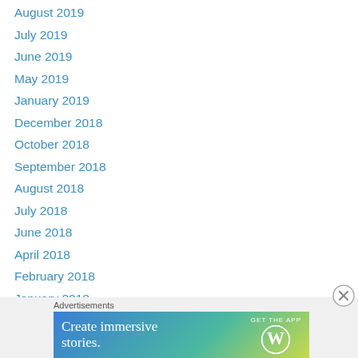August 2019
July 2019
June 2019
May 2019
January 2019
December 2018
October 2018
September 2018
August 2018
July 2018
June 2018
April 2018
February 2018
January 2018
December 2017
November 2017
October 2017
[Figure (screenshot): Advertisement banner: 'Create immersive stories. GET THE APP' with WordPress logo, on gradient blue-green-yellow background. Prefixed by 'Advertisements' label. Close button (X) in circle at top right.]